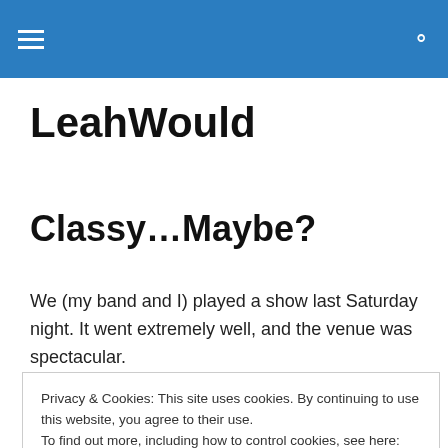LeahWould
Classy…Maybe?
We (my band and I) played a show last Saturday night. It went extremely well, and the venue was spectacular.
Well… except one, teensy thing.
Privacy & Cookies: This site uses cookies. By continuing to use this website, you agree to their use.
To find out more, including how to control cookies, see here: Cookie Policy
Close and accept
made my way from the front door to the coat rack and then